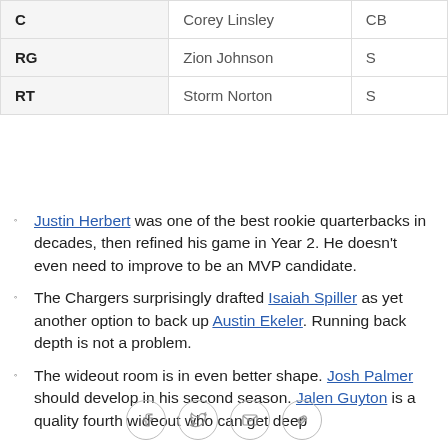| C | Corey Linsley | CB |
| RG | Zion Johnson | S |
| RT | Storm Norton | S |
Justin Herbert was one of the best rookie quarterbacks in decades, then refined his game in Year 2. He doesn't even need to improve to be an MVP candidate.
The Chargers surprisingly drafted Isaiah Spiller as yet another option to back up Austin Ekeler. Running back depth is not a problem.
The wideout room is in even better shape. Josh Palmer should develop in his second season. Jalen Guyton is a quality fourth wideout who can get deep
Social share icons: Facebook, Twitter, Email, Link